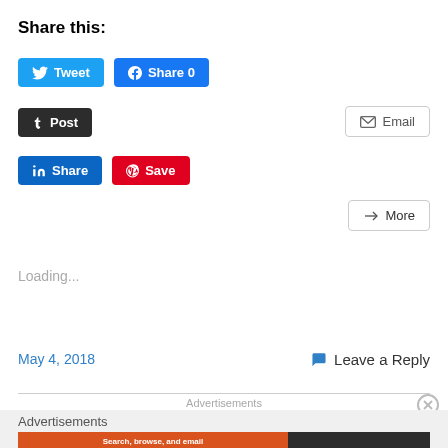Share this:
[Figure (screenshot): Social share buttons: Tweet (Twitter/blue), Share 0 (Facebook/blue), Post (Tumblr/dark), Email (gray outline), Share (LinkedIn/blue), Save (Pinterest/red), More (gray outline)]
Loading...
May 4, 2018
Leave a Reply
Advertisements
[Figure (screenshot): DuckDuckGo advertisement: Search, browse, and email with more privacy. All in One Free App]